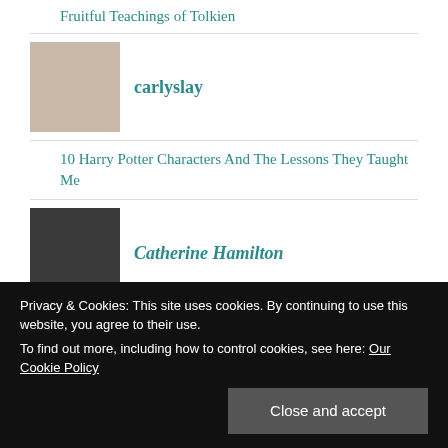Fruitful Teachings of Tolkien
[Figure (photo): Profile photo of user carlyslay]
carlyslay
10 Harry Potter Characters And The Lessons They Taught Me
[Figure (photo): Profile photo of Catherine Hamilton holding a cat]
Catherine Hamilton
Writing Machines of the 20th Century
Heroines in Books and the Lessons They
Privacy & Cookies: This site uses cookies. By continuing to use this website, you agree to their use.
To find out more, including how to control cookies, see here: Our Cookie Policy
Close and accept
[Figure (photo): Profile photo of Luke Bateman]
Luke Bateman